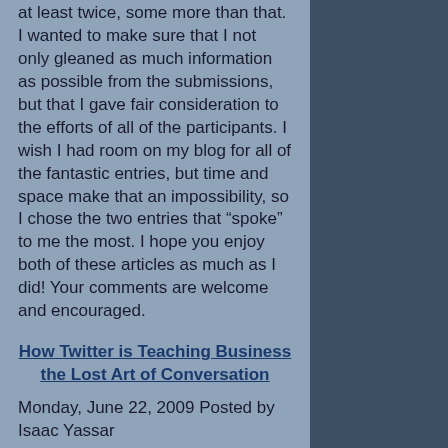at least twice, some more than that.  I wanted to make sure that I not only gleaned as much information as possible from the submissions, but that I gave fair consideration to the efforts of all of the participants. I wish I had room on my blog for all of the fantastic entries, but time and space make that an impossibility, so I chose the two entries that “spoke” to me the most.  I hope you enjoy both of these articles as much as I did! Your comments are welcome and encouraged.
How Twitter is Teaching Business the Lost Art of Conversation
Monday, June 22, 2009 Posted by Isaac Yassar
So it’s happened. Twitter has gone mainstream. As Twitter users, we knew instantly when Mumbai came under terrorist attack. We laughed at the photo of Stephen Fry stuck in an elevator when